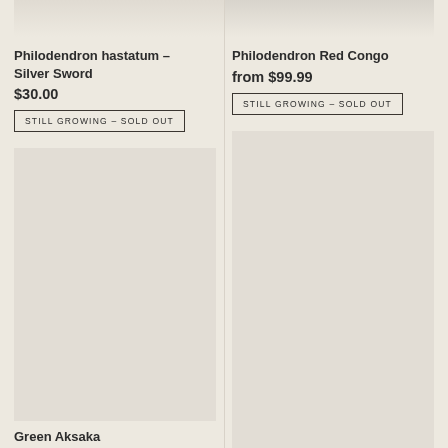[Figure (photo): Top portion of plant product image for Philodendron hastatum - Silver Sword, cropped at top]
Philodendron hastatum – Silver Sword
$30.00
STILL GROWING – SOLD OUT
[Figure (photo): Top portion of plant product image for Philodendron Red Congo, cropped at top]
Philodendron Red Congo
from $99.99
STILL GROWING – SOLD OUT
[Figure (photo): Large product image placeholder for Green Aksaka plant, background beige]
[Figure (photo): Large product image placeholder on right column, background beige]
Green Aksaka